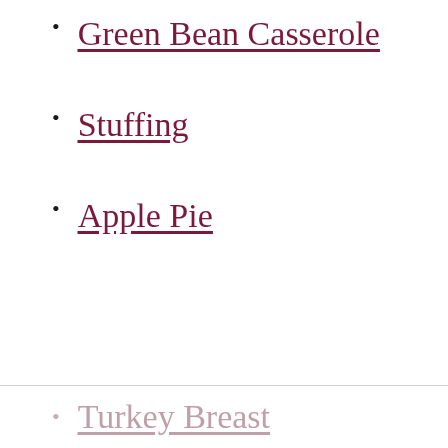Green Bean Casserole
Stuffing
Apple Pie
Turkey Breast